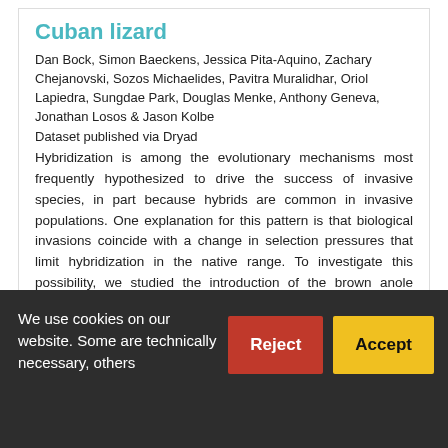Cuban lizard
Dan Bock, Simon Baeckens, Jessica Pita-Aquino, Zachary Chejanovski, Sozos Michaelides, Pavitra Muralidhar, Oriol Lapiedra, Sungdae Park, Douglas Menke, Anthony Geneva, Jonathan Losos & Jason Kolbe
Dataset published via Dryad
Hybridization is among the evolutionary mechanisms most frequently hypothesized to drive the success of invasive species, in part because hybrids are common in invasive populations. One explanation for this pattern is that biological invasions coincide with a change in selection pressures that limit hybridization in the native range. To investigate this possibility, we studied the introduction of the brown anole (Anolis sagrei) in the southeastern United States. We find that native populations are highly genetically...
We use cookies on our website. Some are technically necessary, others
Reject
Accept